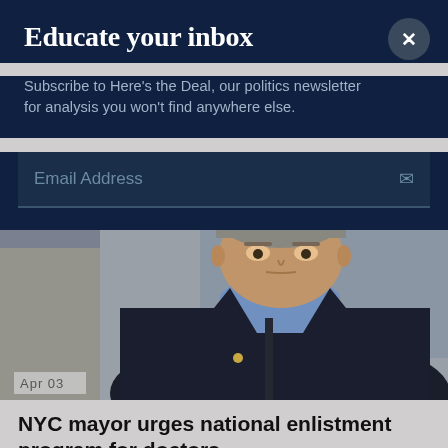Educate your inbox
Subscribe to Here's the Deal, our politics newsletter for analysis you won't find anywhere else.
Email Address
[Figure (photo): A man in a dark jacket over a light blue shirt, looking serious, photographed outdoors with a blurred background. Date tag reads Apr 03.]
NYC mayor urges national enlistment program for doctors